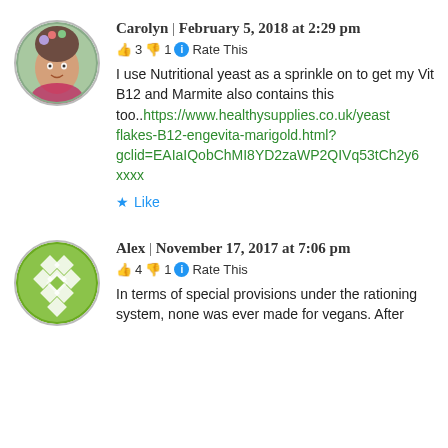[Figure (illustration): Circular avatar photo of a woman with flowers in hair, outdoors]
Carolyn | February 5, 2018 at 2:29 pm
👍 3 👎 1 ℹ Rate This
I use Nutritional yeast as a sprinkle on to get my Vit B12 and Marmite also contains this too..https://www.healthysupplies.co.uk/yeastflakes-B12-engevita-marigold.html?gclid=EAIaIQobChMI8YD2zaWP2QIVq53tCh2y6xxxx
★ Like
[Figure (illustration): Circular avatar with green geometric/diamond pattern design]
Alex | November 17, 2017 at 7:06 pm
👍 4 👎 1 ℹ Rate This
In terms of special provisions under the rationing system, none was ever made for vegans. After